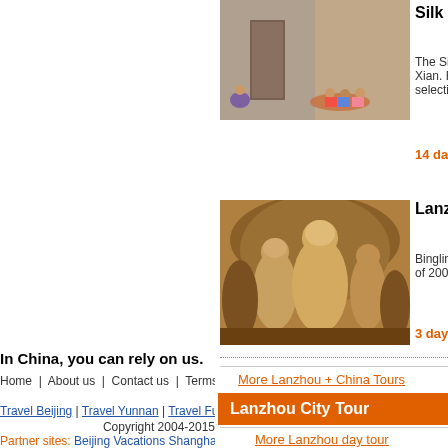[Figure (photo): Photo of people sitting on steps near a doorway]
Silk R...
The Si... Xian. R... selecti...
14 days
[Figure (photo): Photo of ancient Buddhist cave sculptures, Bingling Temple]
Lanzh...
Binglin... of 200...
3 days
More Lanzhou + China Tours
Lanzhou City Tour
More Lanzhou day tour
In China, you can rely on us.
Home | About us | Contact us | Terms | Payment | Privacy Policy | Links
Travel Beijing | Travel Yunnan | Travel Fujian | Dunhuang and Silk Road Tour | China Ma...
Copyright 2004-2015
Partner sites: Beijing Vacations Shanghai Vacations Guangzhou Hotel China Gui...